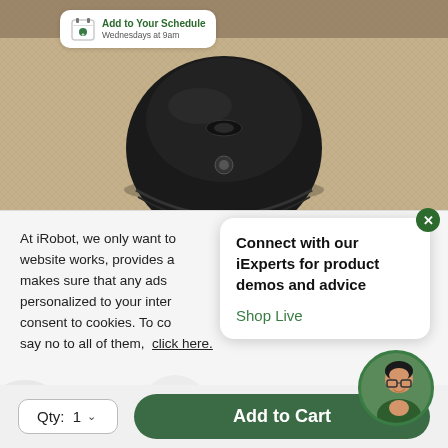[Figure (screenshot): iRobot Roomba product image on beige/tan carpet background with 'Add to Your Schedule, Wednesdays at 9am' bubble overlay in top left]
At iRobot, we only want to website works, provides a makes sure that any ads personalized to your inter consent to cookies. To co say no to all of them, click here.
[Figure (screenshot): Live chat popup: 'Connect with our iExperts for product demos and advice' with 'Shop Live' link and female advisor avatar photo, green X close button]
[Figure (screenshot): Bottom bar with Qty: 1 dropdown and green 'Add to Cart' button]